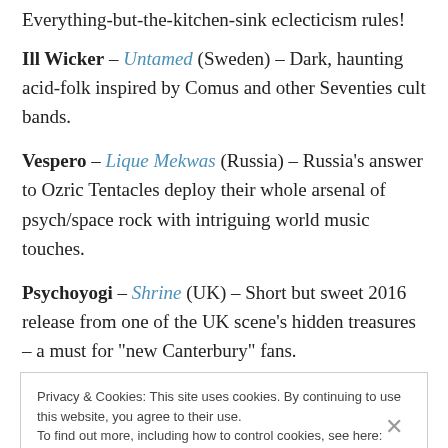Everything-but-the-kitchen-sink eclecticism rules!
Ill Wicker – Untamed (Sweden) – Dark, haunting acid-folk inspired by Comus and other Seventies cult bands.
Vespero – Lique Mekwas (Russia) – Russia's answer to Ozric Tentacles deploy their whole arsenal of psych/space rock with intriguing world music touches.
Psychoyogi – Shrine (UK) – Short but sweet 2016 release from one of the UK scene's hidden treasures – a must for "new Canterbury" fans.
Privacy & Cookies: This site uses cookies. By continuing to use this website, you agree to their use. To find out more, including how to control cookies, see here: Cookie Policy